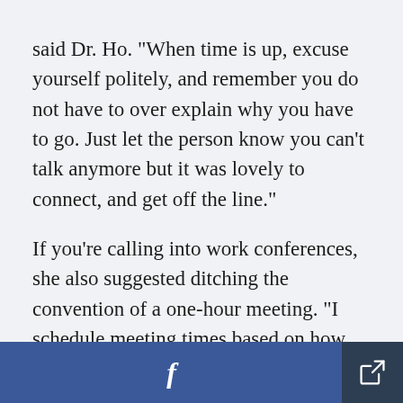said Dr. Ho. "When time is up, excuse yourself politely, and remember you do not have to over explain why you have to go. Just let the person know you can't talk anymore but it was lovely to connect, and get off the line."
If you're calling into work conferences, she also suggested ditching the convention of a one-hour meeting. "I schedule meeting times based on how much time I think is needed to get through the agenda. I regularly have 10-minute, 25-